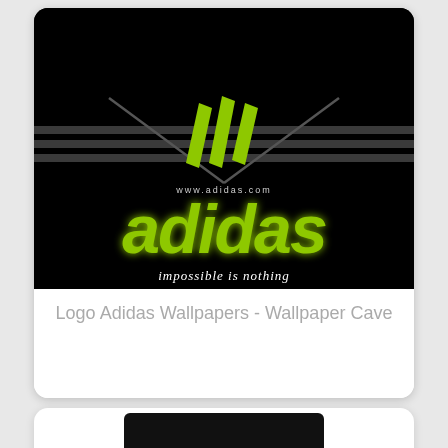[Figure (logo): Adidas logo wallpaper on black background with three diagonal green stripes logo mark, green 'adidas' wordmark in italic bold, and white italic slogan 'impossible is nothing' with website www.adidas.com]
Logo Adidas Wallpapers - Wallpaper Cave